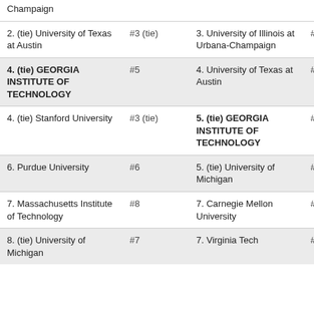| Champaign |  |  |  |
| 2. (tie) University of Texas at Austin | #3 (tie) | 3. University of Illinois at Urbana-Champaign | #3 |
| 4. (tie) GEORGIA INSTITUTE OF TECHNOLOGY | #5 | 4. University of Texas at Austin | #6 |
| 4. (tie) Stanford University | #3 (tie) | 5. (tie) GEORGIA INSTITUTE OF TECHNOLOGY | #4 (tie) |
| 6. Purdue University | #6 | 5. (tie) University of Michigan | #4 (tie) |
| 7. Massachusetts Institute of Technology | #8 | 7. Carnegie Mellon University | #7 |
| 8. (tie) University of Michigan | #7 | 7. Virginia Tech | #10 (tie) |